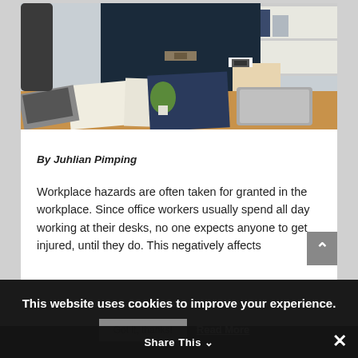[Figure (photo): Office worker in dark suit leaning over a wooden desk with papers, a laptop, a small plant, and a tablet visible on the desk surface]
By Juhlian Pimping
Workplace hazards are often taken for granted in the workplace. Since office workers usually spend all day working at their desks, no one expects anyone to get injured, until they do. This negatively affects
This website uses cookies to improve your experience.
Got it, thanks!
Read More
Share This